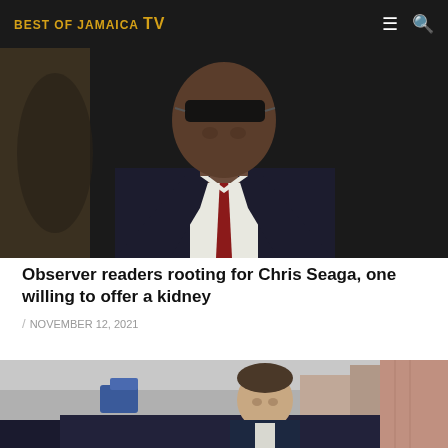BEST OF JAMAICA TV
[Figure (photo): A man wearing sunglasses and a dark suit with a red tie, photographed from the chest up against a dark background.]
Observer readers rooting for Chris Seaga, one willing to offer a kidney
/ NOVEMBER 12, 2021
[Figure (photo): A middle-aged man in a dark suit getting out of or standing near a car, photographed outdoors with buildings in the background.]